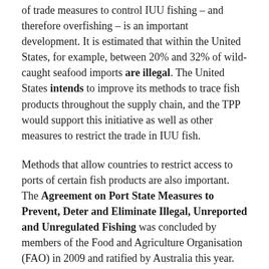of trade measures to control IUU fishing – and therefore overfishing – is an important development. It is estimated that within the United States, for example, between 20% and 32% of wild-caught seafood imports are illegal. The United States intends to improve its methods to trace fish products throughout the supply chain, and the TPP would support this initiative as well as other measures to restrict the trade in IUU fish.
Methods that allow countries to restrict access to ports of certain fish products are also important. The Agreement on Port State Measures to Prevent, Deter and Eliminate Illegal, Unreported and Unregulated Fishing was concluded by members of the Food and Agriculture Organisation (FAO) in 2009 and ratified by Australia this year. But it does not yet have enough ratifications to come into force.
Seven of the twelve parties to the TPP are yet to ratify this FAO agreement (including Canada and Japan). So the TPP's explicit obligation for parties to implement port state measures to combat IUU practices is positive development.